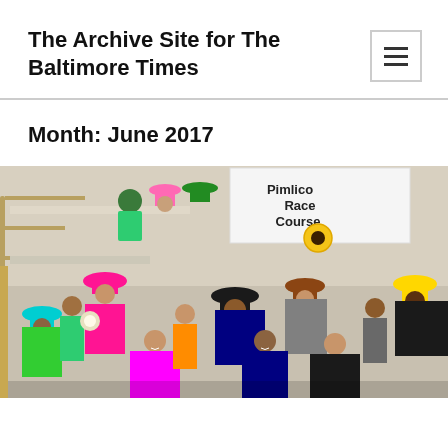The Archive Site for The Baltimore Times
Month: June 2017
[Figure (photo): Large group photo of women wearing colorful hats at Pimlico Race Course, posing on stairs and in front of a Race Course banner with a sunflower logo]